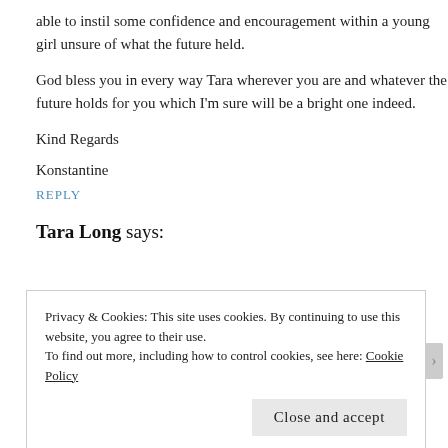able to instil some confidence and encouragement within a young girl unsure of what the future held.
God bless you in every way Tara wherever you are and whatever the future holds for you which I'm sure will be a bright one indeed.
Kind Regards
Konstantine
REPLY
Tara Long says:
Privacy & Cookies: This site uses cookies. By continuing to use this website, you agree to their use.
To find out more, including how to control cookies, see here: Cookie Policy
Close and accept